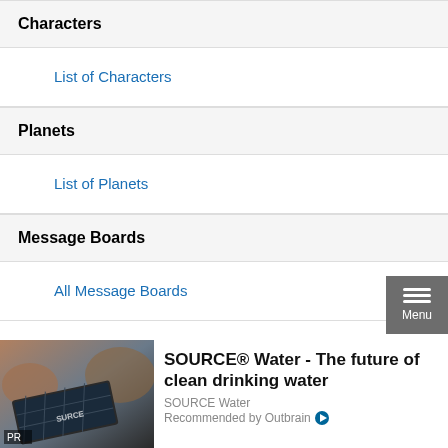Characters
List of Characters
Planets
List of Planets
Message Boards
All Message Boards
[Figure (other): Advertisement: solar panel image with PR badge]
SOURCE® Water - The future of clean drinking water
SOURCE Water
Recommended by Outbrain